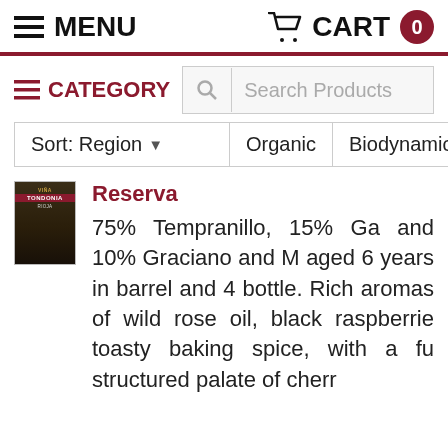MENU   CART 0
CATEGORY   Search Products
Sort: Region ▾   Organic   Biodynamic   L
[Figure (photo): Small wine bottle thumbnail showing Viña Tondonia label]
Reserva
75% Tempranillo, 15% Ga and 10% Graciano and M aged 6 years in barrel and 4  bottle. Rich aromas of wild rose oil, black raspberrie toasty baking spice, with a fu structured palate of cherr...